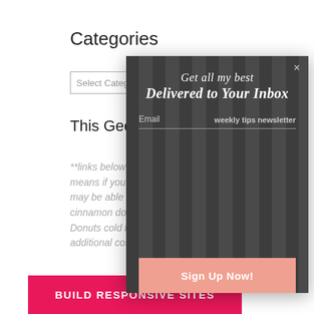Categories
Select Category
This Geek Girl R
**links below ma means if you pu may be able to cinnamon dolce Donuts cold bre additional cost t
[Figure (screenshot): Email newsletter popup modal with dark grey striped background. Contains text 'Get all my best' and 'Delivered to Your Inbox' in italic serif font, an Email field label, 'weekly tips newsletter' label, a horizontal underline input field, and a salmon/pink 'Sign Up Now!' button. A close (×) button is in the top right corner.]
BUILD RESPONSIVE SITES